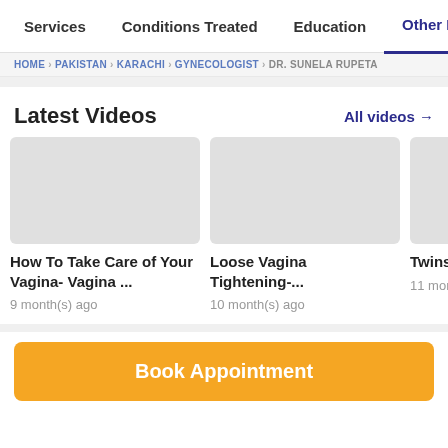Services  Conditions Treated  Education  Other Info
HOME / PAKISTAN / KARACHI / GYNECOLOGIST / DR. SUNELA RUPETA
Latest Videos
All videos →
[Figure (other): Video thumbnail placeholder (gray box) for 'How To Take Care of Your Vagina- Vagina ...']
How To Take Care of Your Vagina- Vagina ...
9 month(s) ago
[Figure (other): Video thumbnail placeholder (gray box) for 'Loose Vagina Tightening-...']
Loose Vagina Tightening-...
10 month(s) ago
[Figure (other): Video thumbnail placeholder (gray box) for 'Twins Pr Judwa Ba...' (partially visible)]
Twins Pr Judwa Ba
11 month(
Book Appointment